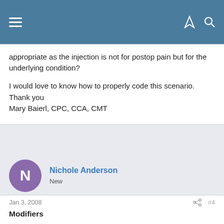Navigation bar with hamburger menu, lightning bolt icon, and search icon
appropriate as the injection is not for postop pain but for the underlying condition?

I would love to know how to properly code this scenario.
Thank you
Mary Baierl, CPC, CCA, CMT
Nichole Anderson
New
Jan 3, 2008  #4
Modifiers

Here is a good link for a FREE audio conference on Modifiers by DARLENE BOSCHERT, CPC, CPC-H, CMT, CHP, CMA. You will also receive the 1 AAPC CEU Credit for listening to this audio.